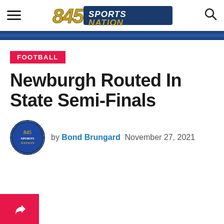845 Sports Nation
FOOTBALL
Newburgh Routed In State Semi-Finals
by Bond Brungard  November 27, 2021